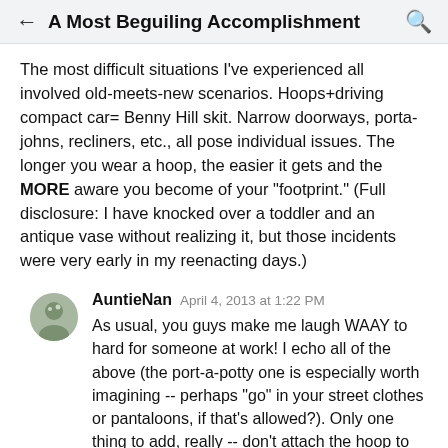A Most Beguiling Accomplishment
The most difficult situations I've experienced all involved old-meets-new scenarios. Hoops+driving compact car= Benny Hill skit. Narrow doorways, porta-johns, recliners, etc., all pose individual issues. The longer you wear a hoop, the easier it gets and the MORE aware you become of your "footprint." (Full disclosure: I have knocked over a toddler and an antique vase without realizing it, but those incidents were very early in my reenacting days.)
AuntieNan April 4, 2013 at 1:22 PM
As usual, you guys make me laugh WAAY to hard for someone at work! I echo all of the above (the port-a-potty one is especially worth imagining -- perhaps "go" in your street clothes or pantaloons, if that's allowed?). Only one thing to add, really -- don't attach the hoop to